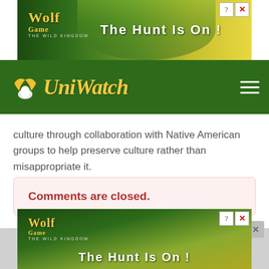[Figure (screenshot): Top banner advertisement for Wolf Game: The Wild Kingdom — 'THE HUNT IS ON!' with wolves in a meadow, green and yellow background, close/help buttons top right]
[Figure (logo): UniWatch logo — wing/bird icon with 'UniWatch' in italic yellow/gold script on dark green navigation bar, hamburger menu icon on right]
culture through collaboration with Native American groups to help preserve culture rather than misappropriate it.
Comments are closed.
[Figure (screenshot): Bottom banner advertisement for Wolf Game: The Wild Kingdom — wolves in a forest scene, 'THE HUNT IS ON!' text, green background, close/help buttons top right]